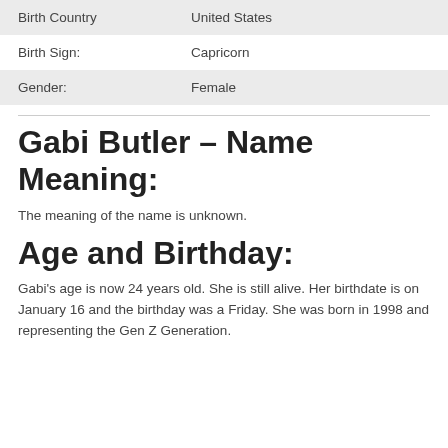| Birth Country | United States |
| Birth Sign: | Capricorn |
| Gender: | Female |
Gabi Butler – Name Meaning:
The meaning of the name is unknown.
Age and Birthday:
Gabi's age is now 24 years old. She is still alive. Her birthdate is on January 16 and the birthday was a Friday. She was born in 1998 and representing the Gen Z Generation.